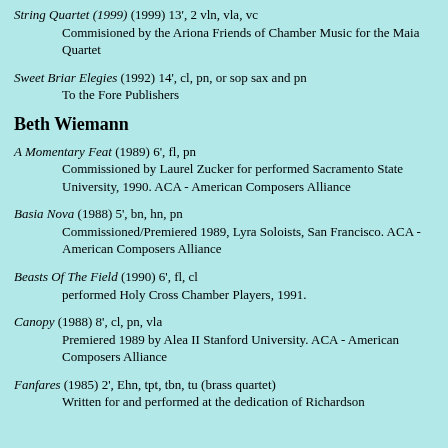String Quartet (1999) (1999) 13', 2 vln, vla, vc
        Commisioned by the Ariona Friends of Chamber Music for the Maia Quartet
Sweet Briar Elegies (1992) 14', cl, pn, or sop sax and pn
        To the Fore Publishers
Beth Wiemann
A Momentary Feat (1989) 6', fl, pn
        Commissioned by Laurel Zucker for performed Sacramento State University, 1990. ACA - American Composers Alliance
Basia Nova (1988) 5', bn, hn, pn
        Commissioned/Premiered 1989, Lyra Soloists, San Francisco. ACA - American Composers Alliance
Beasts Of The Field (1990) 6', fl, cl
        performed Holy Cross Chamber Players, 1991.
Canopy (1988) 8', cl, pn, vla
        Premiered 1989 by Alea II Stanford University. ACA - American Composers Alliance
Fanfares (1985) 2', Ehn, tpt, tbn, tu (brass quartet)
        Written for and performed at the dedication of Richardson